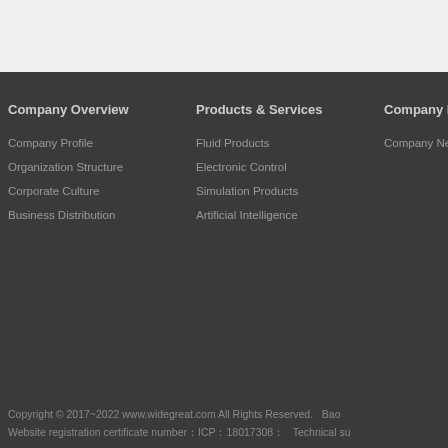Company Overview
Company Profile
Organization Structure
Corporate Culture
Business Distribution
Products & Services
Fluid Products
Electronic Control
Simulation Products
Artificial Intelligence
Company New
Company News
Copyright © 2017~2022 www.widegreat.com All Rights Reserved.   Bao
Website registration certificate number：ICP：18017308：   Technical su